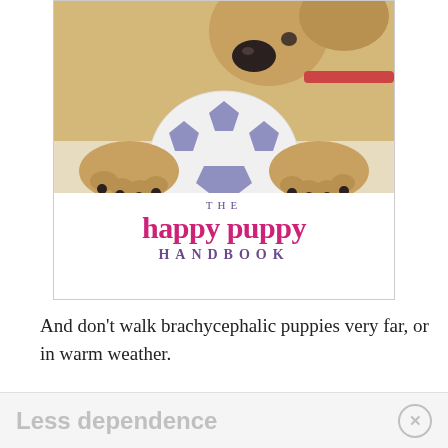[Figure (photo): Book cover of 'The Happy Puppy Handbook' showing a golden puppy biting a soccer ball with text overlay. The top portion shows a puppy with paws around a blue and white soccer ball. The bottom portion shows the title: 'THE' in purple, 'happy puppy' in large pink/magenta text, and 'HANDBOOK' in purple spaced letters.]
And don't walk brachycephalic puppies very far, or in warm weather.
Less dependence